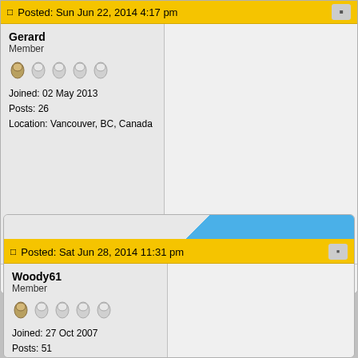Posted: Sun Jun 22, 2014 4:17 pm
Gerard
Member
Joined: 02 May 2013
Posts: 26
Location: Vancouver, BC, Canada
Gerard Ivan Samija
http://www.luthier.ca/
Posted: Sat Jun 28, 2014 11:31 pm
Woody61
Member
Joined: 27 Oct 2007
Posts: 51
Location: Idaho